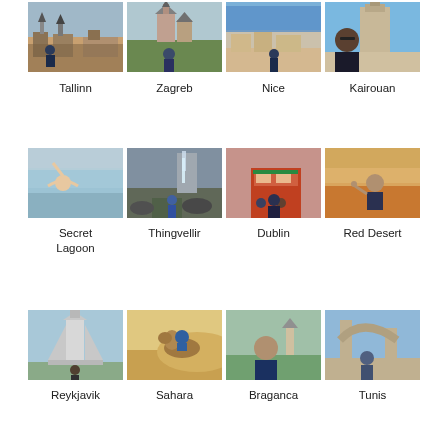[Figure (photo): Grid of 4 travel photos: Tallinn cityscape with red roofs and church spires; Zagreb with man posing in front of cathedral; Nice cityscape from elevated viewpoint; Kairouan with man selfie in front of ancient stone tower]
Tallinn   Zagreb   Nice   Kairouan
[Figure (photo): Grid of 4 travel photos: Secret Lagoon with man swimming in hot spring Iceland; Thingvellir waterfall and rocky landscape Iceland; Dublin colorful street scene with crowd; Red Desert man posing with thumbs up in sandy desert]
Secret Lagoon   Thingvellir   Dublin   Red Desert
[Figure (photo): Grid of 4 travel photos: Reykjavik with Hallgrimskirkja church; Sahara desert with man on camel; Braganca man selfie outdoors; Tunis man standing in ancient stone arch ruins]
Reykjavik   Sahara   Braganca   Tunis